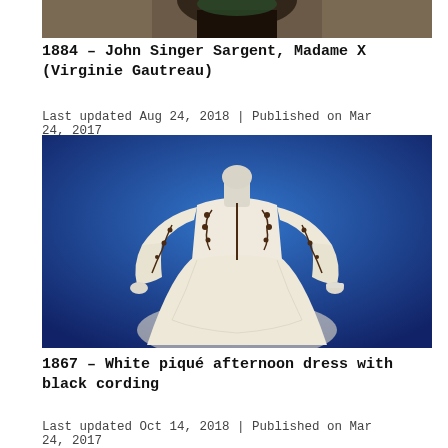[Figure (photo): Partial view of a painting showing a figure in a black dress, cropped at the top of the page]
1884 – John Singer Sargent, Madame X (Virginie Gautreau)
Last updated Aug 24, 2018 | Published on Mar 24, 2017
[Figure (photo): Museum mannequin wearing an 1867 white piqué afternoon dress with black floral cording embroidery, displayed against a blue background]
1867 – White piqué afternoon dress with black cording
Last updated Oct 14, 2018 | Published on Mar 24, 2017